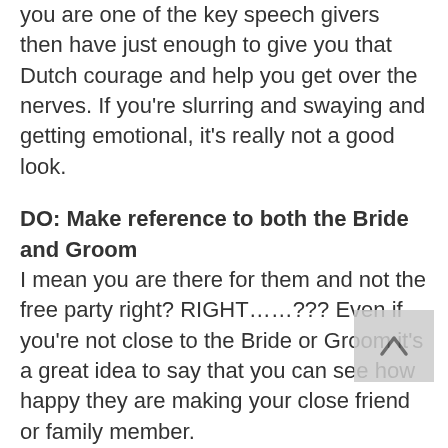you are one of the key speech givers then have just enough to give you that Dutch courage and help you get over the nerves. If you're slurring and swaying and getting emotional, it's really not a good look.
DO: Make reference to both the Bride and Groom
I mean you are there for them and not the free party right? RIGHT……???
Even if you're not close to the Bride or Groom it's a great idea to say that you can see how happy they are making your close friend or family member.
DON'T: Make it about you.
There is nothing more tacky during a wedding than when the speech is all...